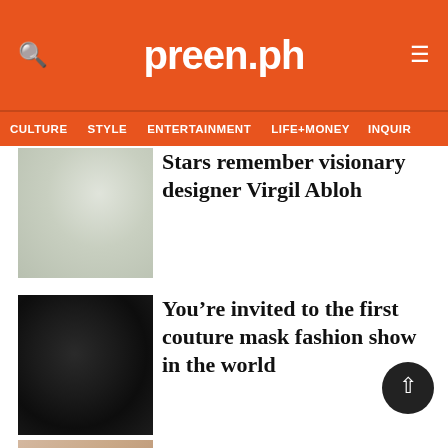preen.ph
CULTURE  STYLE  ENTERTAINMENT  LIFE+MONEY  INQUIR
Stars remember visionary designer Virgil Abloh
You're invited to the first couture mask fashion show in the world
Did you want to know Buzz